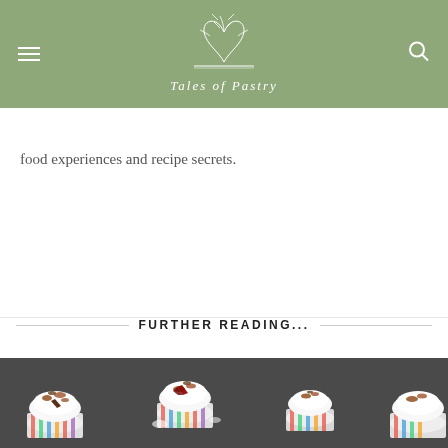Tales of Pastry
food experiences and recipe secrets.
FURTHER READING...
[Figure (photo): Mini cheesecakes topped with crumbled biscuit crumbs and chocolate pieces in colorful striped cupcake liners on a dark slate surface]